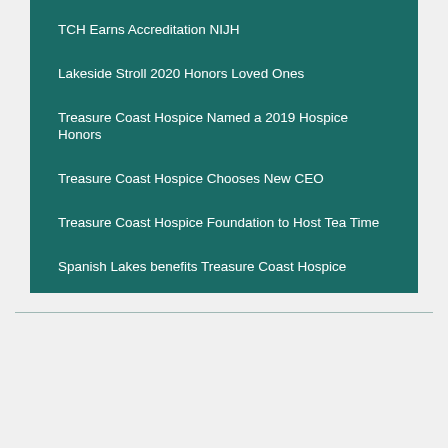TCH Earns Accreditation NIJH
Lakeside Stroll 2020 Honors Loved Ones
Treasure Coast Hospice Named a 2019 Hospice Honors
Treasure Coast Hospice Chooses New CEO
Treasure Coast Hospice Foundation to Host Tea Time
Spanish Lakes benefits Treasure Coast Hospice